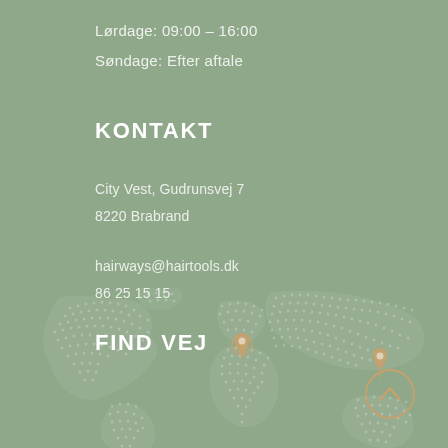Lørdage: 09:00 – 16:00
Søndage: Efter aftale
KONTAKT
City Vest, Gudrunsvej 7
8220 Brabrand
hairways@hairtools.dk
86 25 15 15
FIND VEJ
[Figure (map): World map with dotted/stippled white continents on sage green background, two gold location pin markers placed on the map]
[Figure (other): Circular back-to-top button with upward chevron arrow, gold/amber color outline]